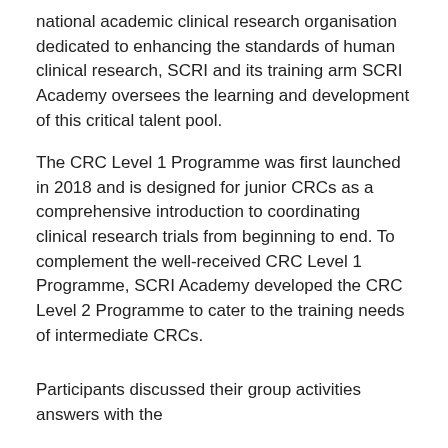national academic clinical research organisation dedicated to enhancing the standards of human clinical research, SCRI and its training arm SCRI Academy oversees the learning and development of this critical talent pool.
The CRC Level 1 Programme was first launched in 2018 and is designed for junior CRCs as a comprehensive introduction to coordinating clinical research trials from beginning to end. To complement the well-received CRC Level 1 Programme, SCRI Academy developed the CRC Level 2 Programme to cater to the training needs of intermediate CRCs.
Participants discussed their group activities answers with the
The CRC Level 2 Programme attendees learnt what are some of the best practices in managing clinical research studies from speakers in the local public healthcare institutes and biopharmaceutical industry. They also reinforced their CRC skills through a interactive...